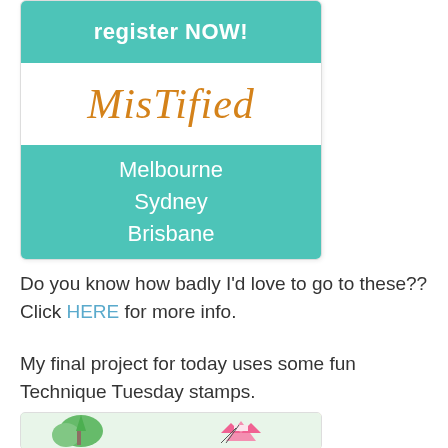[Figure (illustration): Advertisement banner for 'MisTified' event with teal/turquoise background. Top section says 'register NOW!' in white bold text on teal. Middle section has 'MisTified' in orange italic serif font on white background. Bottom teal section lists 'Melbourne Sydney Brisbane' in white text.]
Do you know how badly I'd love to go to these?? Click HERE for more info.
My final project for today uses some fun Technique Tuesday stamps.
[Figure (photo): Partial photo of crafting project using Technique Tuesday stamps, showing colorful paper cut-outs including green leaf and pink crown shapes on white background.]